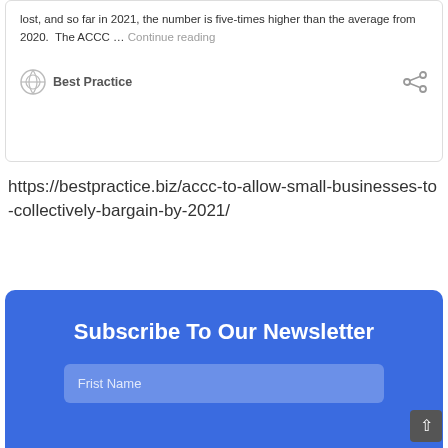lost, and so far in 2021, the number is five-times higher than the average from 2020.  The ACCC … Continue reading
Best Practice
https://bestpractice.biz/accc-to-allow-small-businesses-to-collectively-bargain-by-2021/
Subscribe To Our Newsletter
Frist Name